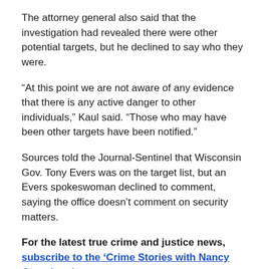The attorney general also said that the investigation had revealed there were other potential targets, but he declined to say who they were.
“At this point we are not aware of any evidence that there is any active danger to other individuals,” Kaul said. “Those who may have been other targets have been notified.”
Sources told the Journal-Sentinel that Wisconsin Gov. Tony Evers was on the target list, but an Evers spokeswoman declined to comment, saying the office doesn’t comment on security matters.
For the latest true crime and justice news, subscribe to the ‘Crime Stories with Nancy Grace’ podcast.